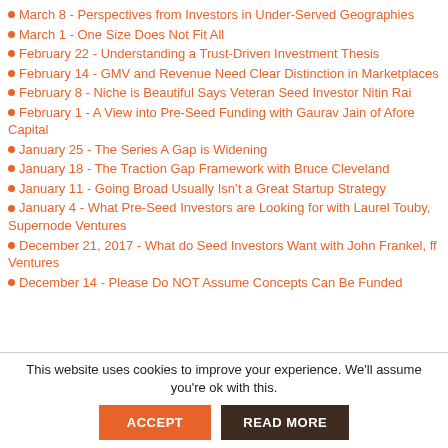March 8 - Perspectives from Investors in Under-Served Geographies
March 1 - One Size Does Not Fit All
February 22 - Understanding a Trust-Driven Investment Thesis
February 14 - GMV and Revenue Need Clear Distinction in Marketplaces
February 8 - Niche is Beautiful Says Veteran Seed Investor Nitin Rai
February 1 - A View into Pre-Seed Funding with Gaurav Jain of Afore Capital
January 25 - The Series A Gap is Widening
January 18 - The Traction Gap Framework with Bruce Cleveland
January 11 - Going Broad Usually Isn’t a Great Startup Strategy
January 4 - What Pre-Seed Investors are Looking for with Laurel Touby, Supernode Ventures
December 21, 2017 - What do Seed Investors Want with John Frankel, ff Ventures
December 14 - Please Do NOT Assume Concepts Can Be Funded
This website uses cookies to improve your experience. We'll assume you're ok with this.